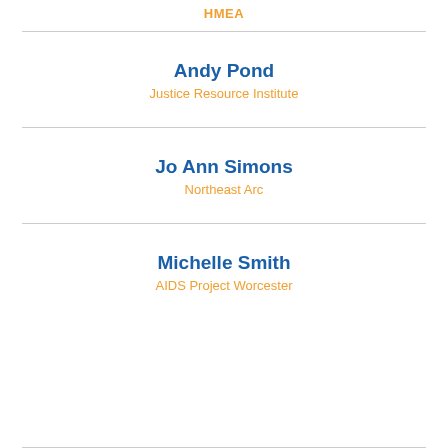HMEA
Andy Pond
Justice Resource Institute
Jo Ann Simons
Northeast Arc
Michelle Smith
AIDS Project Worcester